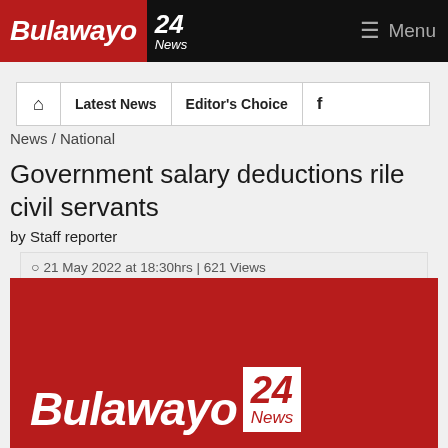Bulawayo 24 News — Menu
| Home | Latest News | Editor's Choice | f |
| --- | --- | --- | --- |
News / National
Government salary deductions rile civil servants
by Staff reporter
21 May 2022 at 18:30hrs | 621 Views
[Figure (logo): Bulawayo24 News logo on dark red background — large white italic text 'Bulawayo' with white box containing red '24' and 'News']